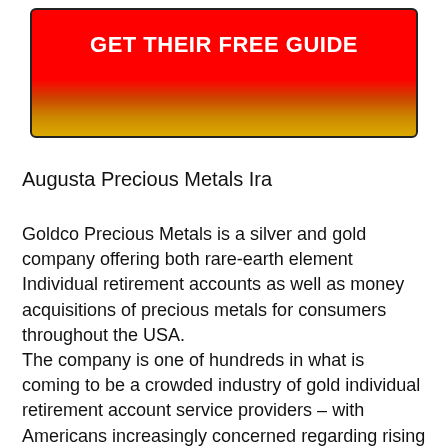[Figure (other): Red to gold gradient button with white bold text reading 'GET THEIR FREE GUIDE']
Augusta Precious Metals Ira
Goldco Precious Metals is a silver and gold company offering both rare-earth element Individual retirement accounts as well as money acquisitions of precious metals for consumers throughout the USA.
The company is one of hundreds in what is coming to be a crowded industry of gold individual retirement account service providers – with Americans increasingly concerned regarding rising cost of living